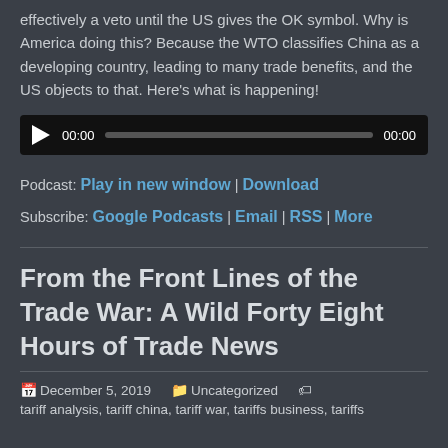effectively a veto until the US gives the OK symbol. Why is America doing this? Because the WTO classifies China as a developing country, leading to many trade benefits, and the US objects to that. Here's what is happening!
[Figure (other): Audio player widget with play button, progress bar showing 00:00 elapsed and 00:00 total time, on dark background]
Podcast: Play in new window | Download
Subscribe: Google Podcasts | Email | RSS | More
From the Front Lines of the Trade War: A Wild Forty Eight Hours of Trade News
December 5, 2019   Uncategorized   tariff analysis, tariff china, tariff war, tariffs business, tariffs economics, tariffs effect, tariffs eu, tariffs europe, tariffs